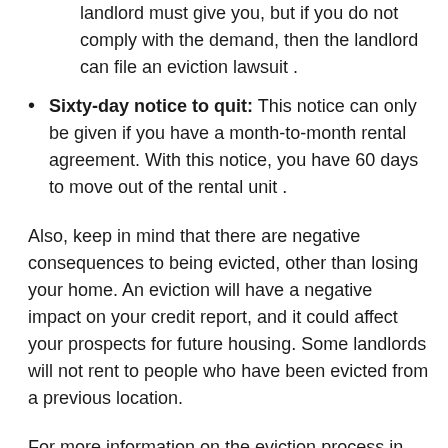landlord must give you, but if you do not comply with the demand, then the landlord can file an eviction lawsuit .
Sixty-day notice to quit: This notice can only be given if you have a month-to-month rental agreement. With this notice, you have 60 days to move out of the rental unit .
Also, keep in mind that there are negative consequences to being evicted, other than losing your home. An eviction will have a negative impact on your credit report, and it could affect your prospects for future housing. Some landlords will not rent to people who have been evicted from a previous location.
For more information on the eviction process in Georgia, see The Eviction Process in Georgia . Also, if you are being evicted because the rental property is being foreclosed, see the Nolo article, Rights of Renters in Foreclosure